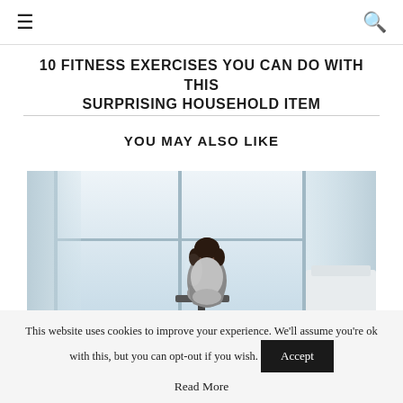☰  🔍
10 FITNESS EXERCISES YOU CAN DO WITH THIS SURPRISING HOUSEHOLD ITEM
YOU MAY ALSO LIKE
[Figure (photo): Woman sitting on a chair facing away toward large bright windows, hugging her knees, lit by soft natural light]
This website uses cookies to improve your experience. We'll assume you're ok with this, but you can opt-out if you wish.
Accept
Read More